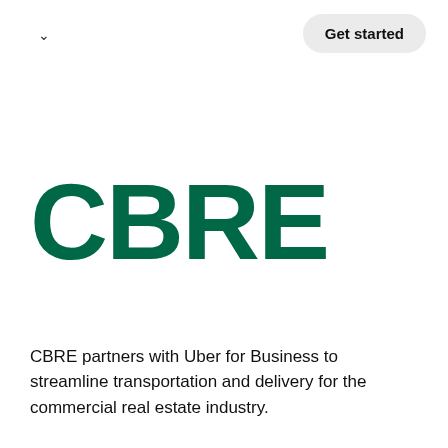[Figure (logo): CBRE logo in dark green bold text]
CBRE partners with Uber for Business to streamline transportation and delivery for the commercial real estate industry.